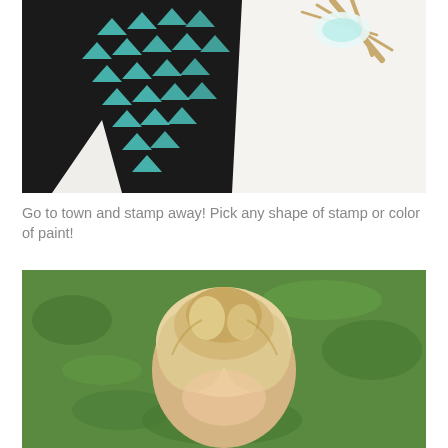[Figure (photo): Black leggings or pants laid flat on a white surface, decorated with teal/turquoise triangle stamp patterns arranged across the fabric. A wooden stick with feathers or similar craft item is visible in the upper right corner.]
Go to town and stamp away! Pick any shape of stamp or color of paint!
[Figure (photo): Close-up photo of a young child with blonde hair viewed from above/behind, sitting on green grass outdoors.]